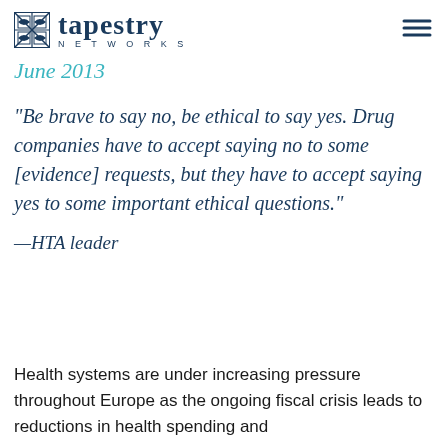European Healthcare Leadership Network, June 2013
[Figure (logo): Tapestry Networks logo with woven square icon and text 'tapestry NETWORKS']
"Be brave to say no, be ethical to say yes. Drug companies have to accept saying no to some [evidence] requests, but they have to accept saying yes to some important ethical questions."
—HTA leader
Health systems are under increasing pressure throughout Europe as the ongoing fiscal crisis leads to reductions in health spending and